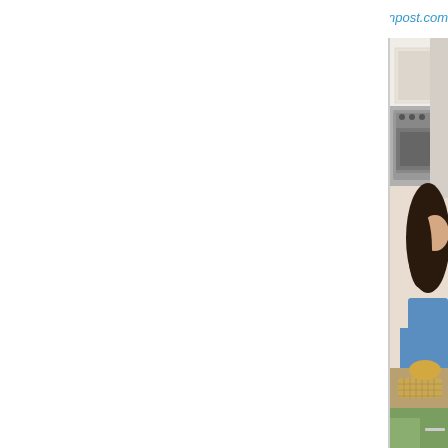www.huffingtonpost.com
[Figure (photo): A young woman with long dark hair wearing a blue top, leaning over a dining table with a wicker basket and food items. A kitchen with an oven is visible in the background.]